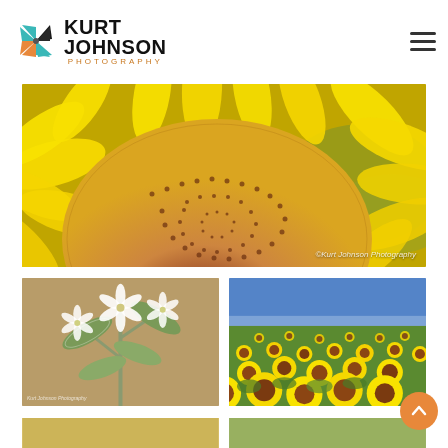[Figure (logo): Kurt Johnson Photography logo with pinwheel icon and text KURT JOHNSON PHOTOGRAPHY]
[Figure (photo): Close-up macro photo of a sunflower with bright yellow petals and orange-brown seed center, with watermark ©Kurt Johnson Photography]
[Figure (photo): Close-up of a white flowering plant with green foliage, small white star-shaped flowers, bokeh background, watermark Kurt Johnson Photography]
[Figure (photo): Wide field of sunflowers under blue sky, many sunflowers facing various directions]